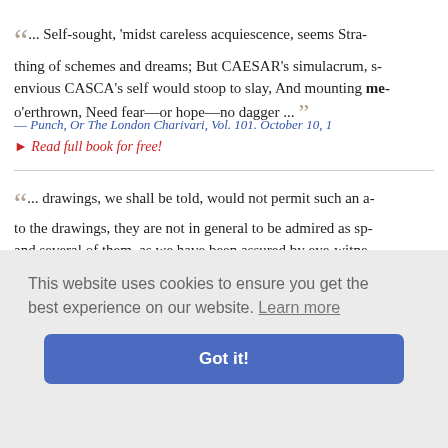“... Self-sought, ‘midst careless acquiescence, seems Stra- thing of schemes and dreams; But CAESAR’s simulacrum, s- envious CASCA’s self would stoop to slay, And mounting me- o’erthrown, Need fear—or hope—no dagger ...”
— Punch, Or The London Charivari, Vol. 101. October 10, 1
▸ Read full book for free!
“... drawings, we shall be told, would not permit such an a- to the drawings, they are not in general to be admired as sp- and several of them, as we have been assured by eye-witne- which they describe, do not compensate for their mediocrity
This website uses cookies to ensure you get the best experience on our website. Learn more
Got it!